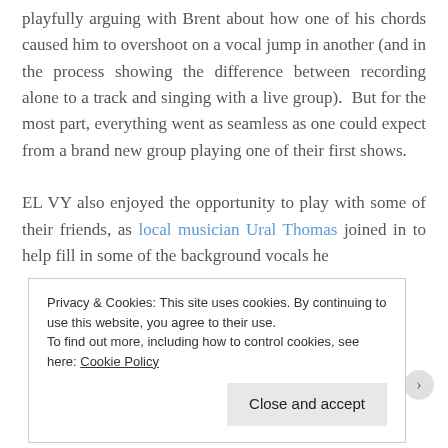playfully arguing with Brent about how one of his chords caused him to overshoot on a vocal jump in another (and in the process showing the difference between recording alone to a track and singing with a live group).  But for the most part, everything went as seamless as one could expect from a brand new group playing one of their first shows.

EL VY also enjoyed the opportunity to play with some of their friends, as local musician Ural Thomas joined in to help fill in some of the background vocals he
Privacy & Cookies: This site uses cookies. By continuing to use this website, you agree to their use.
To find out more, including how to control cookies, see here: Cookie Policy